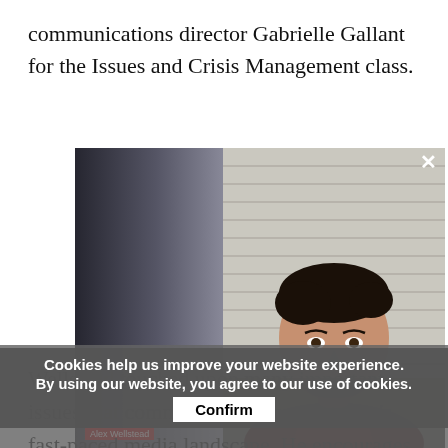communications director Gabrielle Gallant for the Issues and Crisis Management class.
[Figure (photo): Video screenshot of a man with dark hair wearing a red shirt, seated in front of a white wood-paneled wall. The left portion of the video frame is blurred/dark. A cookie consent overlay covers the lower portion.]
Cookies help us improve your website experience.
By using our website, you agree to our use of cookies.
Confirm
Wellstead touched upon many important issues that communicators face in today's fast-paced media landscape. He encourages students to take the time to